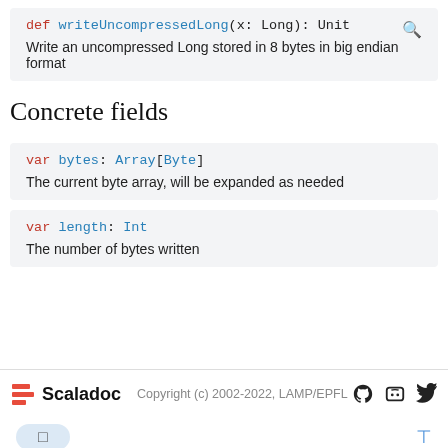def writeUncompressedLong(x: Long): Unit
Write an uncompressed Long stored in 8 bytes in big endian format
Concrete fields
var bytes: Array[Byte]
The current byte array, will be expanded as needed
var length: Int
The number of bytes written
Scaladoc  Copyright (c) 2002-2022, LAMP/EPFL